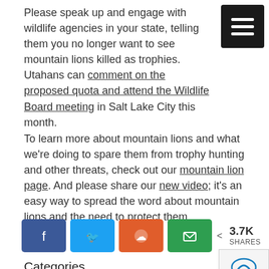Please speak up and engage with wildlife agencies in your state, telling them you no longer want to see mountain lions killed as trophies. Utahans can comment on the proposed quota and attend the Wildlife Board meeting in Salt Lake City this month.
To learn more about mountain lions and what we’re doing to spare them from trophy hunting and other threats, check out our mountain lion page. And please share our new video; it’s an easy way to spread the word about mountain lions and the need to protect them.
[Figure (infographic): Social share buttons: Facebook (blue), Twitter (cyan), Reddit (orange), Email (green), and a share count showing 3.7K SHARES]
Categories
Wildlife/Marine Mammals
Subscribe to the Blog